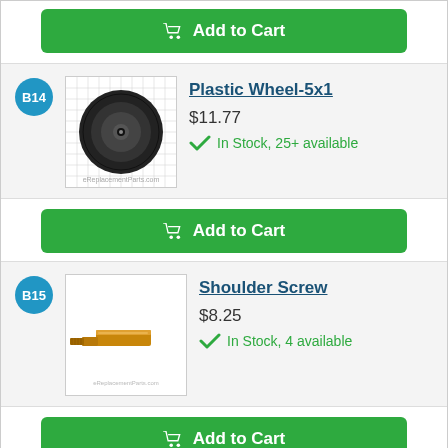[Figure (other): Add to Cart button (top, partial)]
[Figure (photo): Plastic Wheel-5x1 product image on grid background]
B14
Plastic Wheel-5x1
$11.77
In Stock, 25+ available
[Figure (other): Add to Cart button (middle)]
[Figure (photo): Shoulder Screw product image]
B15
Shoulder Screw
$8.25
In Stock, 4 available
[Figure (other): Add to Cart button (bottom)]